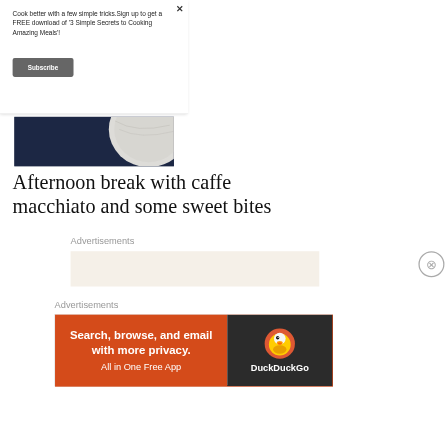Cook better with a few simple tricks.Sign up to get a FREE download of '3 Simple Secrets to Cooking Amazing Meals'!
Subscribe
[Figure (photo): Overhead photo of a white plate or saucer on a dark navy blue surface, partially visible at upper right]
Afternoon break with caffe macchiato and some sweet bites
Advertisements
Advertisements
[Figure (screenshot): DuckDuckGo advertisement banner: orange left side reading 'Search, browse, and email with more privacy. All in One Free App', dark right side with DuckDuckGo duck logo and 'DuckDuckGo' text]